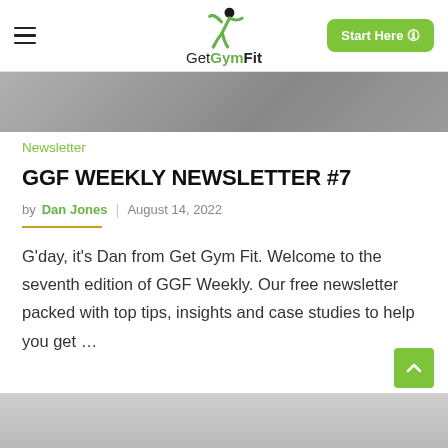GetGymFit — Start Here
[Figure (photo): Partial photo of a person with arms crossed in a gym setting, cropped at top of page]
Newsletter
GGF WEEKLY NEWSLETTER #7
by Dan Jones | August 14, 2022
G'day, it's Dan from Get Gym Fit. Welcome to the seventh edition of GGF Weekly. Our free newsletter packed with top tips, insights and case studies to help you get …
[Figure (photo): Partial photo at bottom of page showing gym equipment]